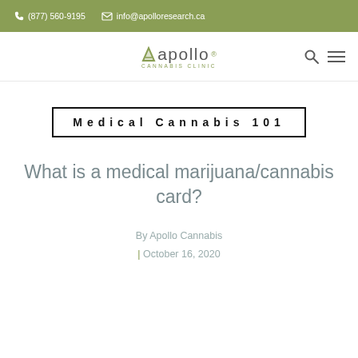(877) 560-9195  info@apolloresearch.ca
[Figure (logo): Apollo Cannabis Clinic logo with green arrow/triangle and stylized text]
Medical Cannabis 101
What is a medical marijuana/cannabis card?
By Apollo Cannabis | October 16, 2020